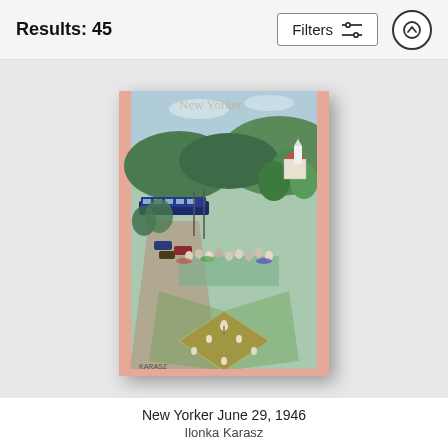Results: 45
Filters
[Figure (illustration): Book cover showing a New Yorker magazine cover illustration depicting an aerial view of a baseball game being played on a diamond-shaped field, surrounded by spectators, with a town, trees, hills, and a train in the background. The cover has a pink border.]
New Yorker June 29, 1946
Ilonka Karasz